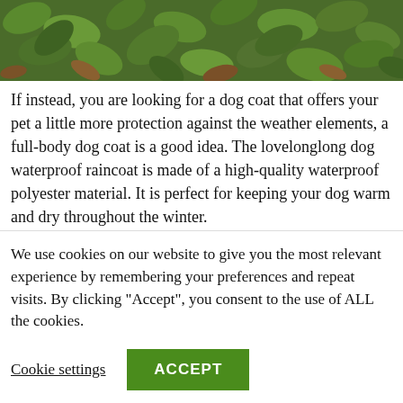[Figure (photo): Close-up photo of green leafy plants and ground foliage, visible at the top of the page as a cropped strip.]
If instead, you are looking for a dog coat that offers your pet a little more protection against the weather elements, a full-body dog coat is a good idea. The lovelonglong dog waterproof raincoat is made of a high-quality waterproof polyester material. It is perfect for keeping your dog warm and dry throughout the winter.
The coat comes in a variety of sizes and the size variety means it is suitable for a wide range of dog breeds. All you need to do is measure your dog and order the most
We use cookies on our website to give you the most relevant experience by remembering your preferences and repeat visits. By clicking “Accept”, you consent to the use of ALL the cookies.
Cookie settings
ACCEPT